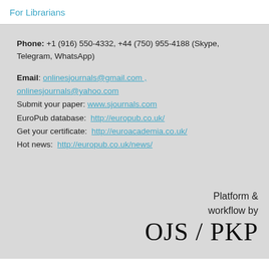For Librarians
Phone: +1 (916) 550-4332, +44 (750) 955-4188 (Skype, Telegram, WhatsApp)
Email: onlinesjournals@gmail.com , onlinesjournals@yahoo.com
Submit your paper: www.sjournals.com
EuroPub database: http://europub.co.uk/
Get your certificate: http://euroacademia.co.uk/
Hot news: http://europub.co.uk/news/
Platform & workflow by OJS / PKP